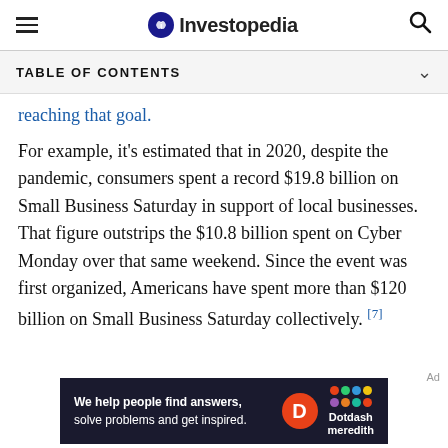Investopedia
TABLE OF CONTENTS
reaching that goal.
For example, it's estimated that in 2020, despite the pandemic, consumers spent a record $19.8 billion on Small Business Saturday in support of local businesses. That figure outstrips the $10.8 billion spent on Cyber Monday over that same weekend. Since the event was first organized, Americans have spent more than $120 billion on Small Business Saturday collectively. [7]
[Figure (other): Dotdash Meredith advertisement banner: 'We help people find answers, solve problems and get inspired.']